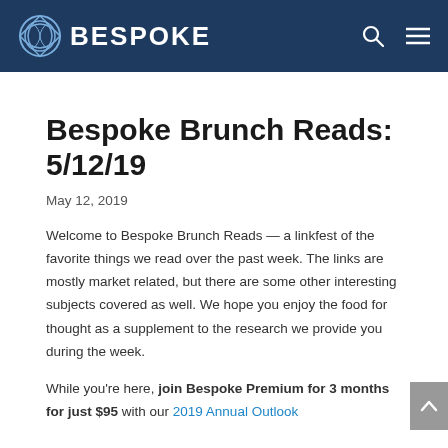BESPOKE
Bespoke Brunch Reads: 5/12/19
May 12, 2019
Welcome to Bespoke Brunch Reads — a linkfest of the favorite things we read over the past week. The links are mostly market related, but there are some other interesting subjects covered as well. We hope you enjoy the food for thought as a supplement to the research we provide you during the week.
While you're here, join Bespoke Premium for 3 months for just $95 with our 2019 Annual Outlook